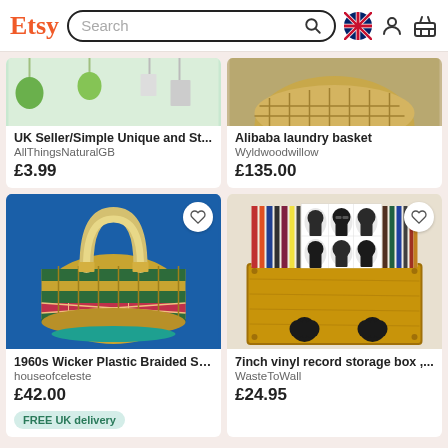Etsy — Search bar with UK flag, user icon, basket icon
[Figure (screenshot): Partial product image for UK Seller/Simple Unique and St... (hanging plants/items)]
UK Seller/Simple Unique and St...
AllThingsNaturalGB
£3.99
[Figure (screenshot): Partial product image for Alibaba laundry basket (woven basket)]
Alibaba laundry basket
Wyldwoodwillow
£135.00
[Figure (photo): 1960s Wicker Plastic Braided Shopping bag — colourful woven basket bag with handle on blue background]
1960s Wicker Plastic Braided Sh...
houseofceleste
£42.00
FREE UK delivery
[Figure (photo): 7inch vinyl record storage box — wooden box filled with vinyl records including Madness album]
7inch vinyl record storage box ,...
WasteToWall
£24.95